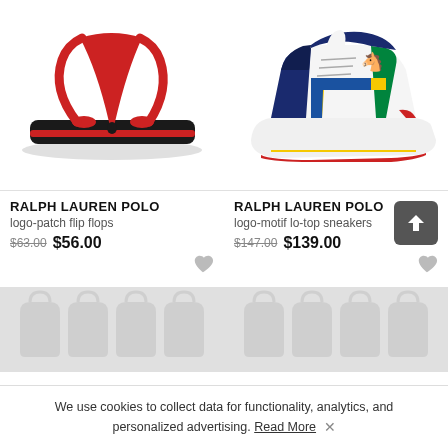[Figure (photo): Ralph Lauren Polo logo-patch flip flops — black with red straps on white background]
[Figure (photo): Ralph Lauren Polo logo-motif lo-top sneakers — multicolor (white, navy, green, yellow, red) on white background]
RALPH LAUREN POLO
logo-patch flip flops
$63.00  $56.00
RALPH LAUREN POLO
logo-motif lo-top sneakers
$147.00  $139.00
[Figure (photo): Product thumbnail placeholder — grey handbag pattern (left)]
[Figure (photo): Product thumbnail placeholder — grey handbag pattern (right)]
We use cookies to collect data for functionality, analytics, and personalized advertising. Read More ✕